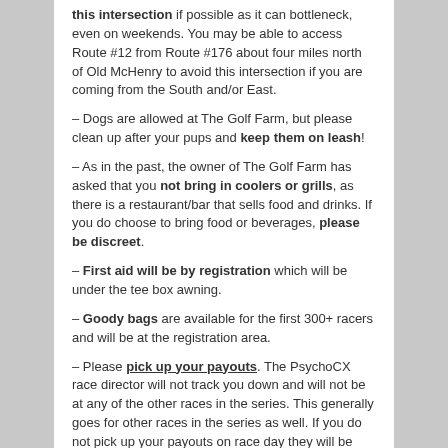this intersection if possible as it can bottleneck, even on weekends. You may be able to access Route #12 from Route #176 about four miles north of Old McHenry to avoid this intersection if you are coming from the South and/or East.
– Dogs are allowed at The Golf Farm, but please clean up after your pups and keep them on leash!
– As in the past, the owner of The Golf Farm has asked that you not bring in coolers or grills, as there is a restaurant/bar that sells food and drinks. If you do choose to bring food or beverages, please be discreet.
– First aid will be by registration which will be under the tee box awning.
– Goody bags are available for the first 300+ racers and will be at the registration area.
– Please pick up your payouts. The PsychoCX race director will not track you down and will not be at any of the other races in the series. This generally goes for other races in the series as well. If you do not pick up your payouts on race day they will be donated to charity unless you make immediate arrangements with the promoter.
– As with any race in the Series, if any spectators, other teams,